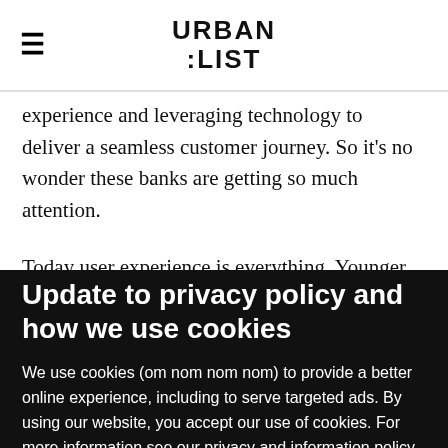URBAN
:LIST
experience and leveraging technology to deliver a seamless customer journey. So it's no wonder these banks are getting so much attention.
Today user experience is everything. Younger people, in
Update to privacy policy and how we use cookies
We use cookies (om nom nom nom) to provide a better online experience, including to serve targeted ads. By using our website, you accept our use of cookies. For more information see our privacy and information policy
ACCEPT